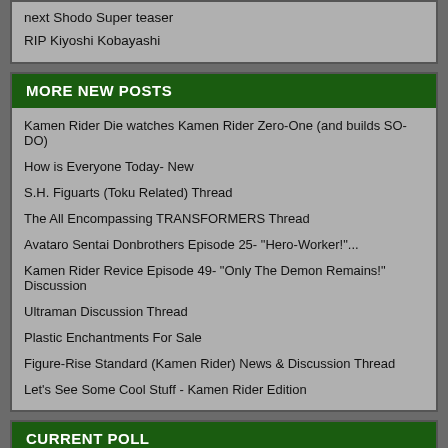next Shodo Super teaser
RIP Kiyoshi Kobayashi
MORE NEW POSTS
Kamen Rider Die watches Kamen Rider Zero-One (and builds SO-DO)
How is Everyone Today- New
S.H. Figuarts (Toku Related) Thread
The All Encompassing TRANSFORMERS Thread
Avataro Sentai Donbrothers Episode 25- "Hero-Worker!"...
Kamen Rider Revice Episode 49- "Only The Demon Remains!" Discussion
Ultraman Discussion Thread
Plastic Enchantments For Sale
Figure-Rise Standard (Kamen Rider) News & Discussion Thread
Let's See Some Cool Stuff - Kamen Rider Edition
CURRENT POLL
How Would You Rate This Episode?